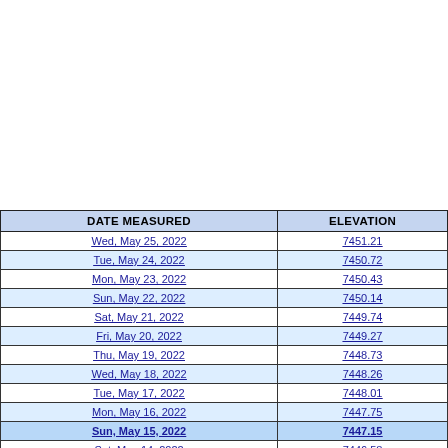| DATE MEASURED | ELEVATION |
| --- | --- |
| Wed, May 25, 2022 | 7451.21 |
| Tue, May 24, 2022 | 7450.72 |
| Mon, May 23, 2022 | 7450.43 |
| Sun, May 22, 2022 | 7450.14 |
| Sat, May 21, 2022 | 7449.74 |
| Fri, May 20, 2022 | 7449.27 |
| Thu, May 19, 2022 | 7448.73 |
| Wed, May 18, 2022 | 7448.26 |
| Tue, May 17, 2022 | 7448.01 |
| Mon, May 16, 2022 | 7447.75 |
| Sun, May 15, 2022 | 7447.15 |
| Sat, May 14, 2022 | 7446.58 |
| Fri, May 13, 2022 | 7445.97 |
| Thu, May 12, 2022 | 7445.25 |
| Wed, May 11, 2022 | 7444.39 |
| Tue, May 10, 2022 | 7443.56 |
| Mon, May 09, 2022 | 7443.86 |